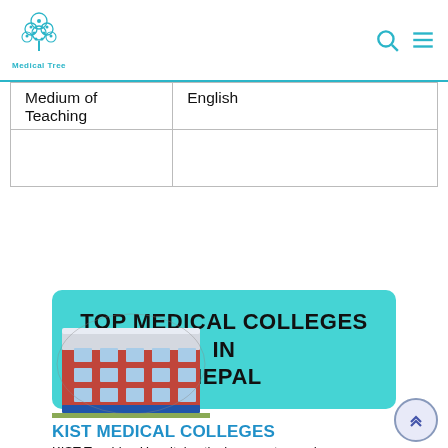Medical Tree
| Medium of Teaching | English |
|  |  |
TOP MEDICAL COLLEGES IN NEPAL
[Figure (photo): A multi-storey red and white building – KIST Medical College hospital building]
KIST MEDICAL COLLEGES
KIST Teaching Hospital actively promotes and